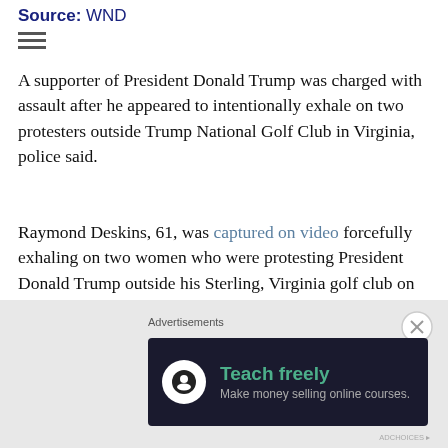Source: WND
A supporter of President Donald Trump was charged with assault after he appeared to intentionally exhale on two protesters outside Trump National Golf Club in Virginia, police said.
Raymond Deskins, 61, was captured on video forcefully exhaling on two women who were protesting President Donald Trump outside his Sterling, Virginia golf club on Saturday, according to the Associated Press. The Loudoun County Sheriff's Office said that Deskins was charged with misdemeanor assault on Sunday for his actions.
“Do what you want,” said Deskins, who was wearing a “Trump: Make America Great Again!”
[Figure (infographic): Advertisement banner: dark background with green 'Teach freely' text and subtitle 'Make money selling online courses.' with a white circular icon.]